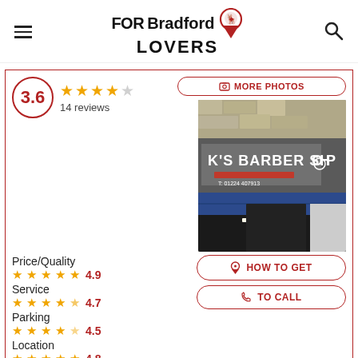FORBradford LOVERS
[Figure (photo): K's Barber Shop storefront with sign and blue awning]
3.6
14 reviews
Price/Quality 4.9
Service 4.7
Parking 4.5
Location 4.8
Establishment 5